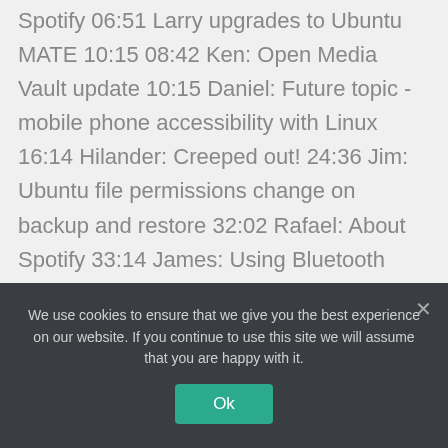Spotify 06:51 Larry upgrades to Ubuntu MATE 10:15 08:42 Ken: Open Media Vault update 10:15 Daniel: Future topic - mobile phone accessibility with Linux 16:14 Hilander: Creeped out! 24:36 Jim: Ubuntu file permissions change on backup and restore 32:02 Rafael: About Spotify 33:14 James: Using Bluetooth speakers with ALSA instead of Pulse Audio 39:01 Liz: Feedback on PDF documents 40:36 Liz: Feedback on Manjaro and buying hardware for Linux 47:03 goinglinux.com, goinglinux@gmail.com, +1-904-468-7889, @goinglinux, feedback, listen, subscribe 48:24
We use cookies to ensure that we give you the best experience on our website. If you continue to use this site we will assume that you are happy with it.